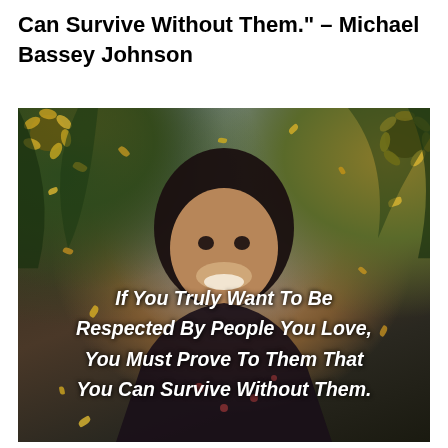Can Survive Without Them." – Michael Bassey Johnson
[Figure (photo): A smiling woman surrounded by sunflowers and green foliage with yellow petals falling around her. Overlaid white bold italic text reads: 'If You Truly Want To Be Respected By People You Love, You Must Prove To Them That You Can Survive Without Them.']